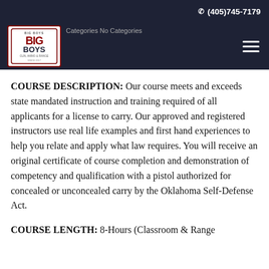(405)745-7179
[Figure (logo): Big Boys Gun, Ammo & Range logo — red and dark navy shield/badge style logo]
Categories No Categories
COURSE DESCRIPTION: Our course meets and exceeds state mandated instruction and training required of all applicants for a license to carry. Our approved and registered instructors use real life examples and first hand experiences to help you relate and apply what law requires. You will receive an original certificate of course completion and demonstration of competency and qualification with a pistol authorized for concealed or unconcealed carry by the Oklahoma Self-Defense Act.
COURSE LENGTH: 8-Hours (Classroom & Range